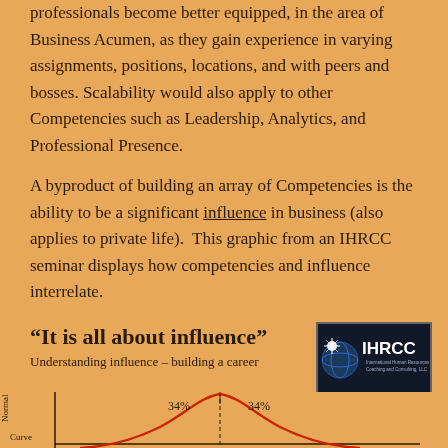professionals become better equipped, in the area of Business Acumen, as they gain experience in varying assignments, positions, locations, and with peers and bosses. Scalability would also apply to other Competencies such as Leadership, Analytics, and Professional Presence.
A byproduct of building an array of Competencies is the ability to be a significant influence in business (also applies to private life).  This graphic from an IHRCC seminar displays how competencies and influence interrelate.
“It is all about influence”
Understanding influence – building a career
[Figure (other): IHRCC logo with globe graphic and text: International Human Resources Coaching and Consulting, LLC]
[Figure (continuous-plot): Bell curve / normal distribution chart showing 34% on each side of center, with a Normal Curve label on y-axis. Partially visible at bottom of page.]